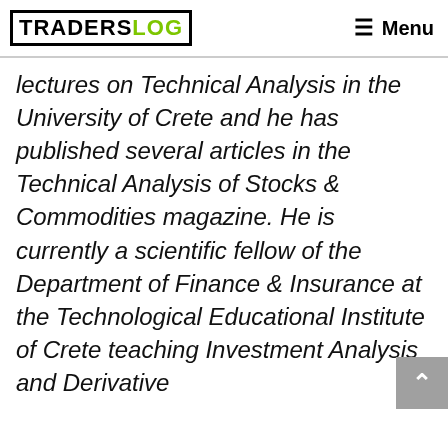[TRADERSLOG] ≡ Menu
lectures on Technical Analysis in the University of Crete and he has published several articles in the Technical Analysis of Stocks & Commodities magazine. He is currently a scientific fellow of the Department of Finance & Insurance at the Technological Educational Institute of Crete teaching Investment Analysis and Derivative